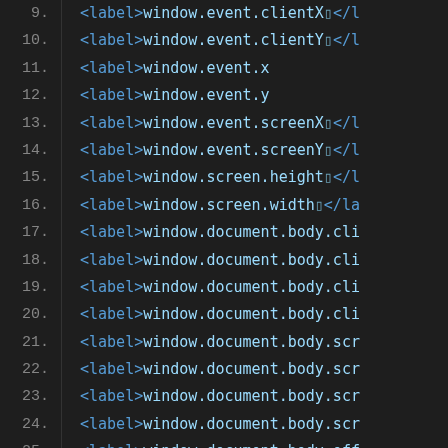[Figure (screenshot): Dark-themed code editor showing lines 9–26 of HTML/JavaScript code. Line numbers appear on the left in gray. Code shows label elements containing window.event and window.document.body property references in blue/teal monospace text on a dark background.]